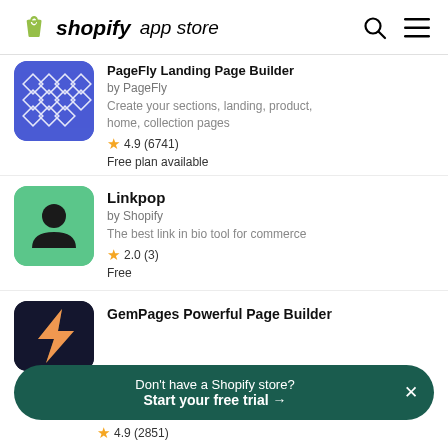shopify app store
PageFly Landing Page Builder — by PageFly — Create your sections, landing, product, home, collection pages — 4.9 (6741) — Free plan available
Linkpop — by Shopify — The best link in bio tool for commerce — 2.0 (3) — Free
GemPages Powerful Page Builder
Don't have a Shopify store? Start your free trial →
4.9 (2851)